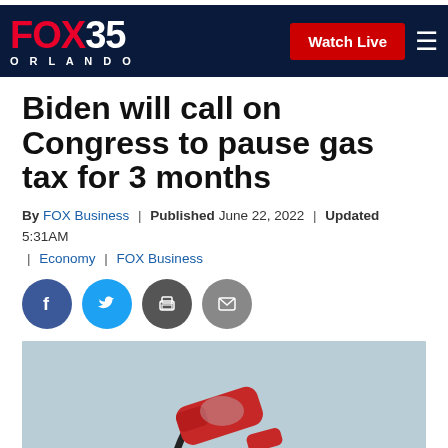FOX 35 ORLANDO | Watch Live
Biden will call on Congress to pause gas tax for 3 months
By FOX Business | Published June 22, 2022 | Updated 5:31AM | Economy | FOX Business
[Figure (illustration): Social media share icons: Facebook, Twitter, Print, Email]
[Figure (photo): A red gas pump nozzle inserted into a vehicle at a gas station]